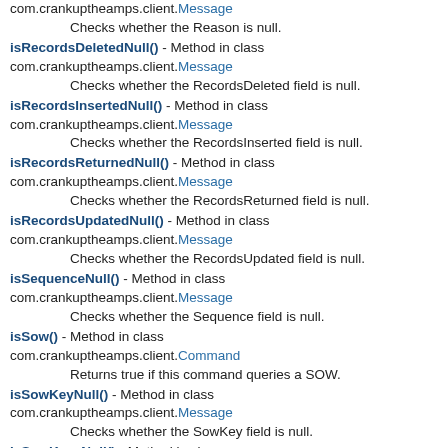com.crankuptheamps.client.Message
Checks whether the Reason is null.
isRecordsDeletedNull() - Method in class com.crankuptheamps.client.Message
Checks whether the RecordsDeleted field is null.
isRecordsInsertedNull() - Method in class com.crankuptheamps.client.Message
Checks whether the RecordsInserted field is null.
isRecordsReturnedNull() - Method in class com.crankuptheamps.client.Message
Checks whether the RecordsReturned field is null.
isRecordsUpdatedNull() - Method in class com.crankuptheamps.client.Message
Checks whether the RecordsUpdated field is null.
isSequenceNull() - Method in class com.crankuptheamps.client.Message
Checks whether the Sequence field is null.
isSow() - Method in class com.crankuptheamps.client.Command
Returns true if this command queries a SOW.
isSowKeyNull() - Method in class com.crankuptheamps.client.Message
Checks whether the SowKey field is null.
isSowKeysNull() - Method in class com.crankuptheamps.client.Message